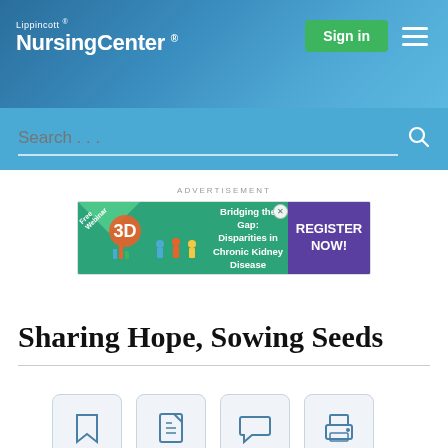Lippincott® NursingCenter®
Search...
ADVERTISEMENT
[Figure (screenshot): Advertisement banner: 'Bridging the Gap: Disparities in Chronic Kidney Disease' webinar registration with green and purple design]
Sharing Hope, Sowing Seeds
[Figure (infographic): Four action icon buttons: bookmark, PDF, comment, print]